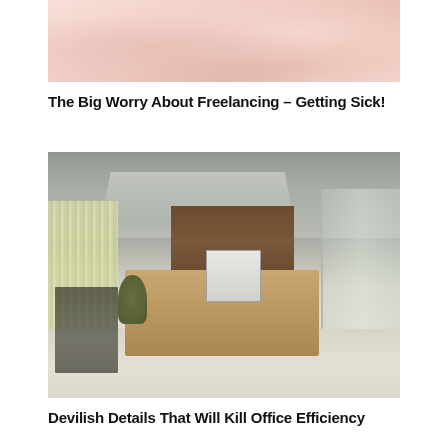[Figure (photo): Close-up photo of pink/peach soft fabric or bedding, blurred and soft-focus, suggesting a person resting or sleeping with pink tones]
The Big Worry About Freelancing – Getting Sick!
[Figure (photo): Modern office conference room with a long wooden desk, black office chairs, yellow vertical blinds on left, recessed tray ceiling with spotlights, dark wood cabinets on back wall, glass partition on right, and a plant near the desk]
Devilish Details That Will Kill Office Efficiency